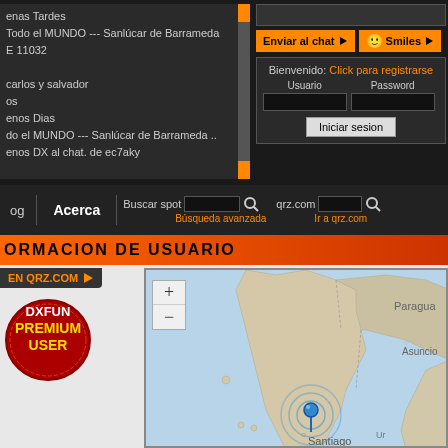[Figure (screenshot): Chat window showing messages in Spanish: 'enas Tardes', 'Todo el MUNDO --- Sanlúcar de Barrameda', 'E 11032', 'carlos y salvador', 'os', 'enos Dias', 'do el MUNDO --- Sanlúcar de Barrameda ..', 'enos DX al chat. de ec7aky']
Enviar al chat
Smiles
Bienvenido: Click para registrarse
Usuario
Password
Iniciar sesion
og
Acerca
Buscar spot
Búsqueda avanzada
qrz.com
Ir a qrz.com
ORMACION DE USUARIO
EN QRZ.COM
[Figure (logo): DXFUN PREMIUM USER badge - circular red badge with yellow and white text]
[Figure (illustration): Chilean flag - white top half with blue square and white star, red bottom half]
DXCC: CE
Chile
12 - ITU: 14 16
ontinente: SA
[Figure (map): Map showing South America, focused on Chile with Santiago visible. Shows Paraguay, Asuncion, and surrounding regions. Blue location pin with ripple effect near Santiago.]